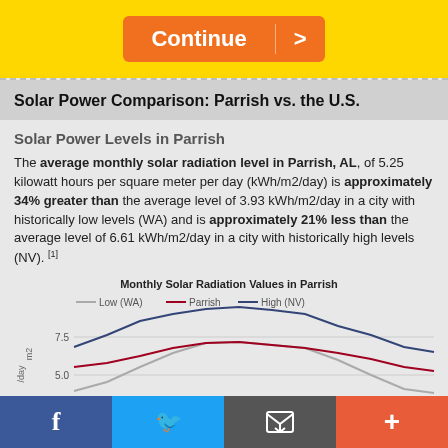[Figure (screenshot): Orange 'Continue >' button on yellow background]
Solar Power Comparison: Parrish vs. the U.S.
Solar Power Levels in Parrish
The average monthly solar radiation level in Parrish, AL, of 5.25 kilowatt hours per square meter per day (kWh/m2/day) is approximately 34% greater than the average level of 3.93 kWh/m2/day in a city with historically low levels (WA) and is approximately 21% less than the average level of 6.61 kWh/m2/day in a city with historically high levels (NV). [1]
[Figure (line-chart): Monthly Solar Radiation Values in Parrish]